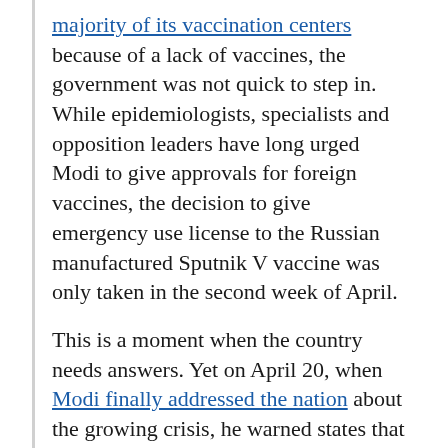majority of its vaccination centers because of a lack of vaccines, the government was not quick to step in. While epidemiologists, specialists and opposition leaders have long urged Modi to give approvals for foreign vaccines, the decision to give emergency use license to the Russian manufactured Sputnik V vaccine was only taken in the second week of April.
This is a moment when the country needs answers. Yet on April 20, when Modi finally addressed the nation about the growing crisis, he warned states that a lockdown should be considered a last resort, and called on young people to form committees to [COVID...]